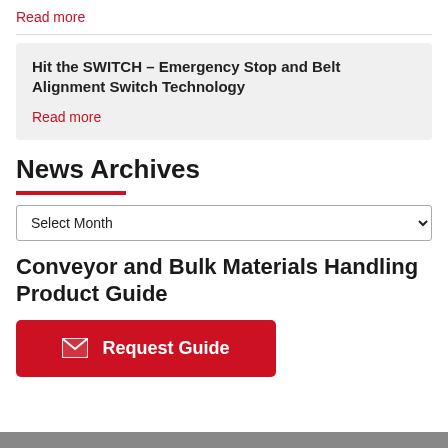Read more
Hit the SWITCH – Emergency Stop and Belt Alignment Switch Technology
Read more
News Archives
Select Month
Conveyor and Bulk Materials Handling Product Guide
Request Guide